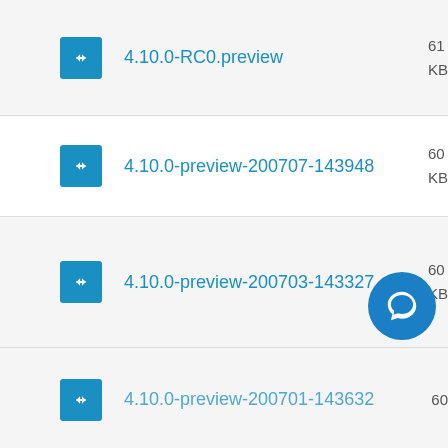4.10.0-RC0.preview
4.10.0-preview-200707-143948
4.10.0-preview-200703-143327
4.10.0-preview-200701-143632